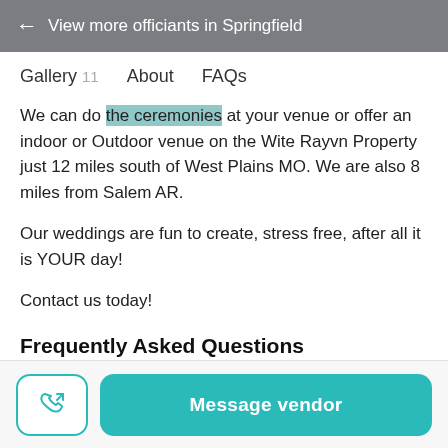← View more officiants in Springfield
Gallery 11   About   FAQs
We can do the ceremonies at your venue or offer an indoor or Outdoor venue on the Wite Rayvn Property just 12 miles south of West Plains MO. We are also 8 miles from Salem AR.
Our weddings are fun to create, stress free, after all it is YOUR day!
Contact us today!
Frequently Asked Questions
Message vendor